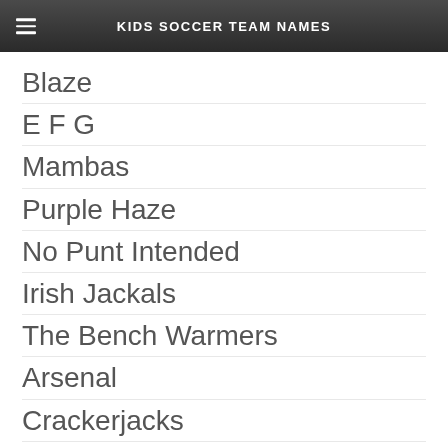KIDS SOCCER TEAM NAMES
Blaze
E F G
Mambas
Purple Haze
No Punt Intended
Irish Jackals
The Bench Warmers
Arsenal
Crackerjacks
Airborne